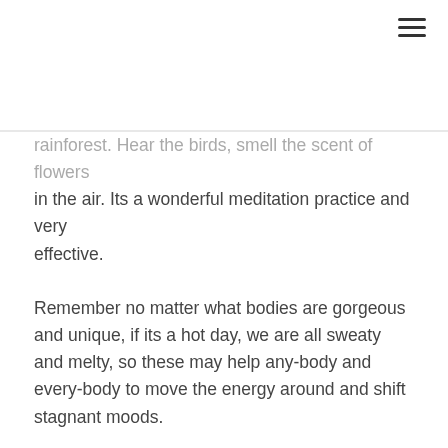≡
rainforest. Hear the birds, smell the scent of flowers in the air. Its a wonderful meditation practice and very effective.
Remember no matter what bodies are gorgeous and unique, if its a hot day, we are all sweaty and melty, so these may help any-body and every-body to move the energy around and shift stagnant moods.
Sara Picken-Brown is a Coach & Wellbeing Event & Pr Consultant, she has been a teacher of Yoga, Barre, Pilates & Fitness for over 20 years and is a former professional ballet dancer and athlete.
Instagram: @figure_genie